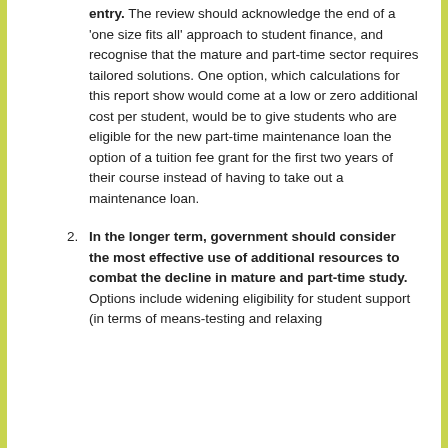entry. The review should acknowledge the end of a 'one size fits all' approach to student finance, and recognise that the mature and part-time sector requires tailored solutions. One option, which calculations for this report show would come at a low or zero additional cost per student, would be to give students who are eligible for the new part-time maintenance loan the option of a tuition fee grant for the first two years of their course instead of having to take out a maintenance loan.
In the longer term, government should consider the most effective use of additional resources to combat the decline in mature and part-time study. Options include widening eligibility for student support (in terms of means-testing and relaxing